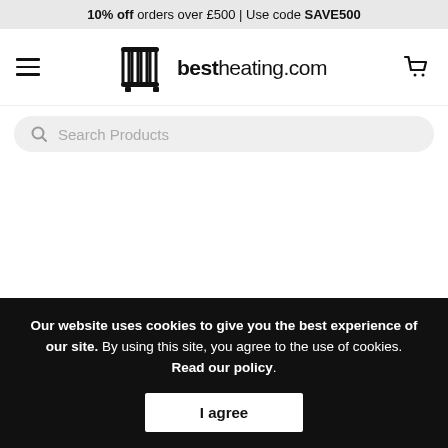10% off orders over £500 | Use code SAVE500
[Figure (logo): bestheating.com logo with stylized radiator icon]
Search Products
Milano Derwent - Traditional Heated Towel Rail 900mm x 495mm
Our website uses cookies to give you the best experience of our site. By using this site, you agree to the use of cookies. Read our policy.
I agree